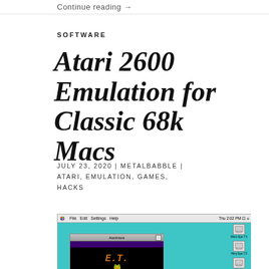Continue reading →
SOFTWARE
Atari 2600 Emulation for Classic 68k Macs
JULY 23, 2020 | METALBABBLE | ATARI, EMULATION, GAMES, HACKS
[Figure (screenshot): Screenshot of a classic Mac OS desktop (teal background) showing AtariHack application window with E.T. the Extra-Terrestrial Atari 2600 game running, with desktop icons on the right side including Micro Eye 7.5, Htmy Eye 7.5, Htmy 050, Apps & Devs, and RedEdit 2.1.5. Menu bar shows Thu 2:02 PM.]